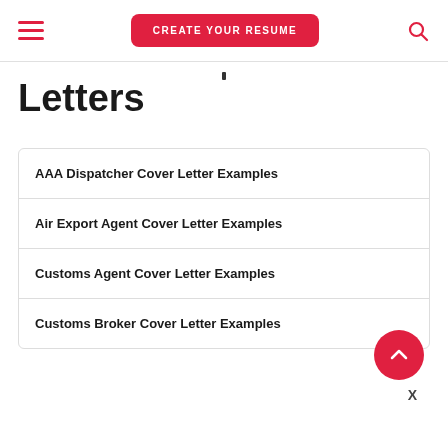CREATE YOUR RESUME
Letters
AAA Dispatcher Cover Letter Examples
Air Export Agent Cover Letter Examples
Customs Agent Cover Letter Examples
Customs Broker Cover Letter Examples